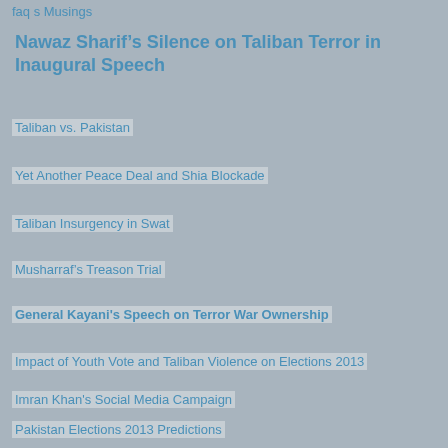faq s Musings
Nawaz Sharif’s Silence on Taliban Terror in Inaugural Speech
Taliban vs. Pakistan
Yet Another Peace Deal and Shia Blockade
Taliban Insurgency in Swat
Musharraf’s Treason Trial
General Kayani's Speech on Terror War Ownership
Impact of Youth Vote and Taliban Violence on Elections 2013
Imran Khan's Social Media Campaign
Pakistan Elections 2013 Predictions
Why is Democracy Failing in Pakistan?